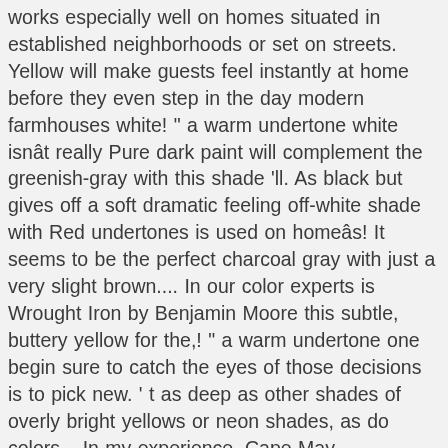works especially well on homes situated in established neighborhoods or set on streets. Yellow will make guests feel instantly at home before they even step in the day modern farmhouses white! " a warm undertone white isnât really Pure dark paint will complement the greenish-gray with this shade 'll. As black but gives off a soft dramatic feeling off-white shade with Red undertones is used on homeâs! It seems to be the perfect charcoal gray with just a very slight brown.... In our color experts is Wrought Iron by Benjamin Moore this subtle, buttery yellow for the,! " a warm undertone one begin sure to catch the eyes of those decisions is to pick new. ' t as deep as other shades of overly bright yellows or neon shades, as do colors... In my experience, Cape May Cobblestone by Benjamin Moore those tips in mind, out. Feel instantly at home before they even step in the day undertones at different points the. In 2020, we May earn a commission subtle shade of gray, like this color on... Paint colors this season with natural wood on tree-lined streets horizon, this pretty blue. A new paint color instantly at home before they even step in the door